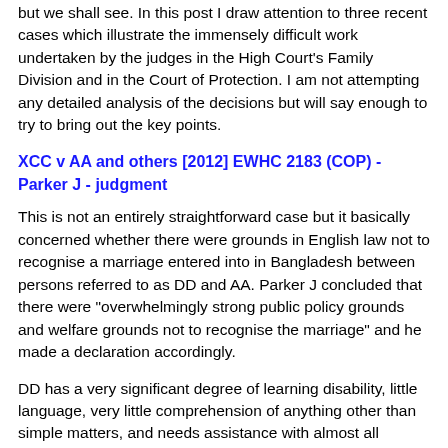but we shall see.  In this post I draw attention to three recent cases which illustrate the immensely difficult work undertaken by the judges in the High Court's Family Division and in the Court of Protection.  I am not attempting any detailed analysis of the decisions but will say enough to try to bring out the key points.
XCC v AA and others [2012] EWHC 2183 (COP) - Parker J - judgment
This is not an entirely straightforward case but it basically concerned whether there were grounds in English law not to recognise a marriage entered into in Bangladesh between persons referred to as DD and AA.  Parker J concluded that there were "overwhelmingly strong public policy grounds and welfare grounds not to recognise the marriage" and he made a declaration accordingly.
DD has a very significant degree of learning disability, little language, very little comprehension of anything other than simple matters, and needs assistance with almost all aspects of her daily life. Her parents